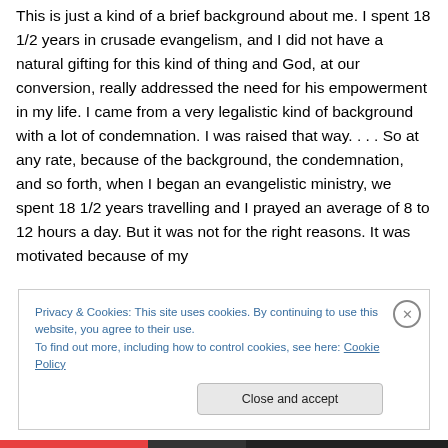This is just a kind of a brief background about me. I spent 18 1/2 years in crusade evangelism, and I did not have a natural gifting for this kind of thing and God, at our conversion, really addressed the need for his empowerment in my life. I came from a very legalistic kind of background with a lot of condemnation. I was raised that way. . . . So at any rate, because of the background, the condemnation, and so forth, when I began an evangelistic ministry, we spent 18 1/2 years travelling and I prayed an average of 8 to 12 hours a day. But it was not for the right reasons. It was motivated because of my
Privacy & Cookies: This site uses cookies. By continuing to use this website, you agree to their use.
To find out more, including how to control cookies, see here: Cookie Policy